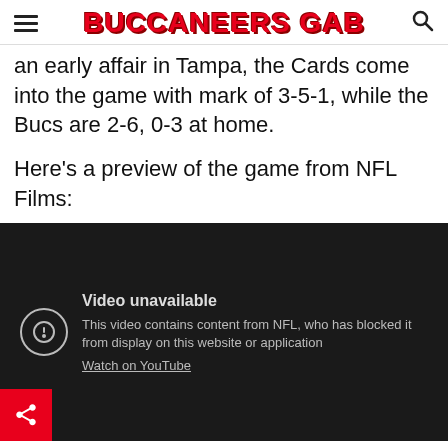BUCCANEERS GAB
an early affair in Tampa, the Cards come into the game with mark of 3-5-1, while the Bucs are 2-6, 0-3 at home.
Here's a preview of the game from NFL Films:
[Figure (screenshot): Embedded YouTube video player showing 'Video unavailable' message: 'This video contains content from NFL, who has blocked it from display on this website or application. Watch on YouTube']